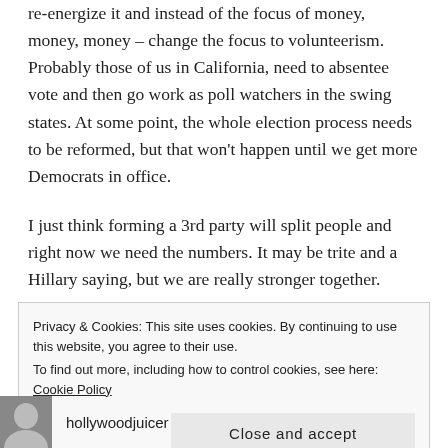re-energize it and instead of the focus of money, money, money – change the focus to volunteerism. Probably those of us in California, need to absentee vote and then go work as poll watchers in the swing states. At some point, the whole election process needs to be reformed, but that won't happen until we get more Democrats in office.
I just think forming a 3rd party will split people and right now we need the numbers. It may be trite and a Hillary saying, but we are really stronger together.
Privacy & Cookies: This site uses cookies. By continuing to use this website, you agree to their use.
To find out more, including how to control cookies, see here: Cookie Policy
[Close and accept]
hollywoodjuicer